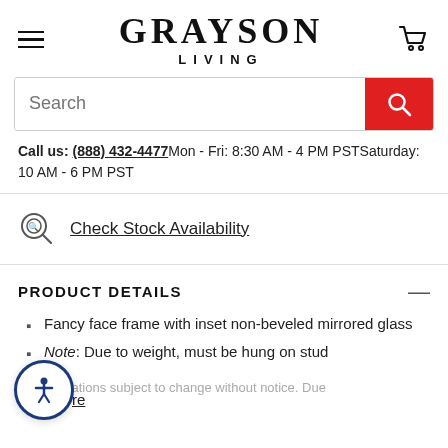GRAYSON LIVING
Call us: (888) 432-4477 Mon - Fri: 8:30 AM - 4 PM PST Saturday: 10 AM - 6 PM PST
Check Stock Availability
PRODUCT DETAILS
Fancy face frame with inset non-beveled mirrored glass
Note: Due to weight, must be hung on stud
Specifications subject to change without notice. Due